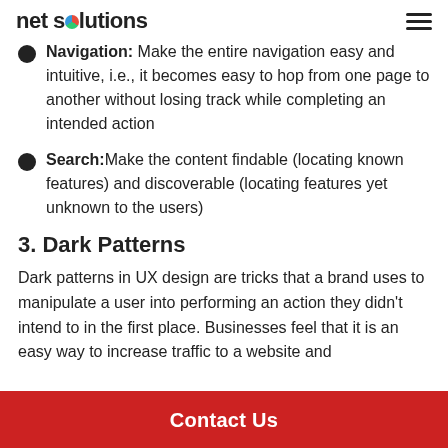net solutions
Navigation: Make the entire navigation easy and intuitive, i.e., it becomes easy to hop from one page to another without losing track while completing an intended action
Search: Make the content findable (locating known features) and discoverable (locating features yet unknown to the users)
3. Dark Patterns
Dark patterns in UX design are tricks that a brand uses to manipulate a user into performing an action they didn't intend to in the first place. Businesses feel that it is an easy way to increase traffic to a website and
Contact Us